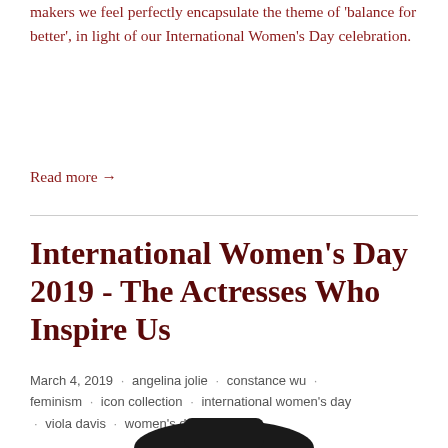makers we feel perfectly encapsulate the theme of 'balance for better', in light of our International Women's Day celebration.
Read more →
International Women's Day 2019 - The Actresses Who Inspire Us
March 4, 2019 · angelina jolie · constance wu · feminism · icon collection · international women's day · viola davis · women's day
[Figure (illustration): Bottom portion of a dark silhouette illustration of a person]